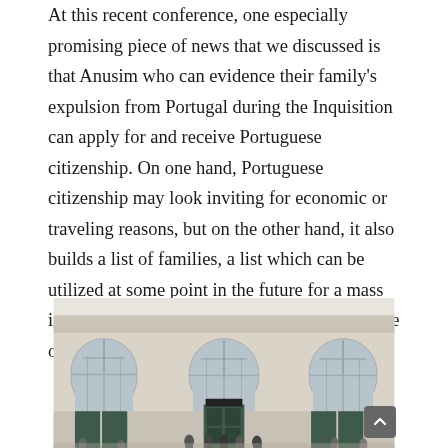At this recent conference, one especially promising piece of news that we discussed is that Anusim who can evidence their family's expulsion from Portugal during the Inquisition can apply for and receive Portuguese citizenship. On one hand, Portuguese citizenship may look inviting for economic or traveling reasons, but on the other hand, it also builds a list of families, a list which can be utilized at some point in the future for a mass immigration to Israel, about which we are quite optimistic.
[Figure (photo): Exterior of a classical European building with arched windows and dark green doors, people standing in front]